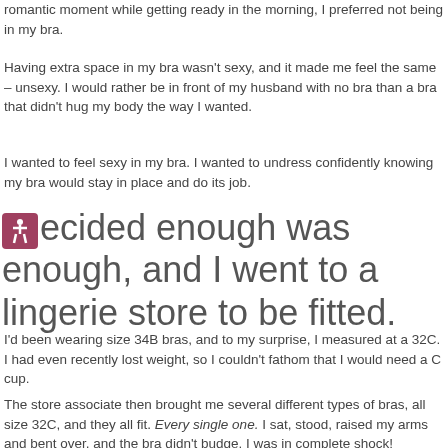romantic moment while getting ready in the morning, I preferred not being in my bra.
Having extra space in my bra wasn't sexy, and it made me feel the same – unsexy. I would rather be in front of my husband with no bra than a bra that didn't hug my body the way I wanted.
I wanted to feel sexy in my bra. I wanted to undress confidently knowing my bra would stay in place and do its job.
decided enough was enough, and I went to a lingerie store to be fitted.
I'd been wearing size 34B bras, and to my surprise, I measured at a 32C. I had even recently lost weight, so I couldn't fathom that I would need a C cup.
The store associate then brought me several different types of bras, all size 32C, and they all fit. Every single one. I sat, stood, raised my arms and bent over, and the bra didn't budge. I was in complete shock!